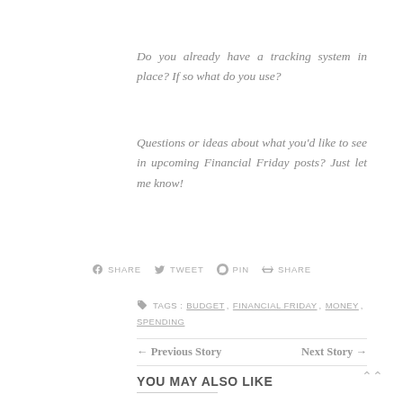Do you already have a tracking system in place? If so what do you use?
Questions or ideas about what you'd like to see in upcoming Financial Friday posts? Just let me know!
SHARE   TWEET   PIN   SHARE
TAGS : BUDGET , FINANCIAL FRIDAY , MONEY , SPENDING
← Previous Story   Next Story →
YOU MAY ALSO LIKE